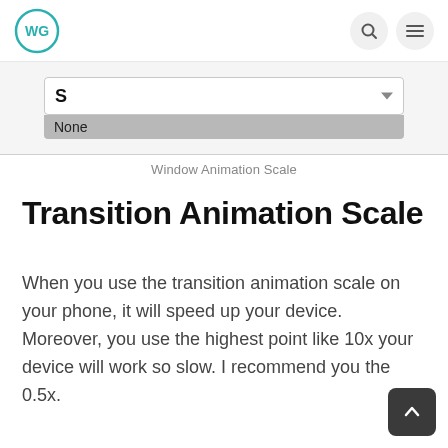WG logo, search icon, menu icon
[Figure (screenshot): Dropdown UI showing 'None' option selected under a field labeled 'S' with a dropdown arrow, part of a mobile settings interface]
Window Animation Scale
Transition Animation Scale
When you use the transition animation scale on your phone, it will speed up your device. Moreover, you use the highest point like 10x your device will work so slow. I recommend you the 0.5x.